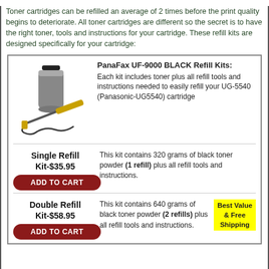Toner cartridges can be refilled an average of 2 times before the print quality begins to deteriorate. All toner cartridges are different so the secret is to have the right toner, tools and instructions for your cartridge. These refill kits are designed specifically for your cartridge:
[Figure (other): Product box showing a toner bottle and refill tool image alongside PanaFax UF-9000 BLACK Refill Kits description, Single Refill Kit at $35.95 with ADD TO CART button, and Double Refill Kit at $58.95 with ADD TO CART button and Best Value & Free Shipping badge.]